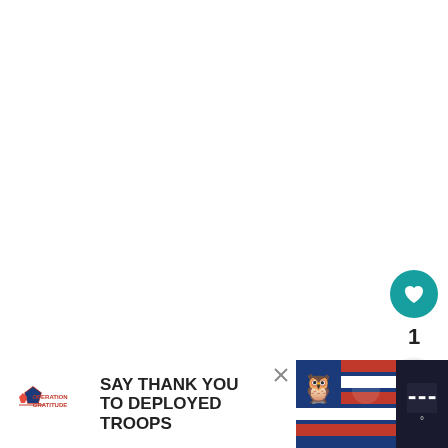[Figure (screenshot): White main content area of a webpage]
[Figure (infographic): Teal circular heart/like button with count of 1 and a share button below it]
1
[Figure (infographic): What's Next card showing a circular thumbnail image and text 'Gluten Free Chicken...']
[Figure (screenshot): Advertisement banner: Operation Gratitude - SAY THANK YOU TO DEPLOYED TROOPS with patriotic imagery]